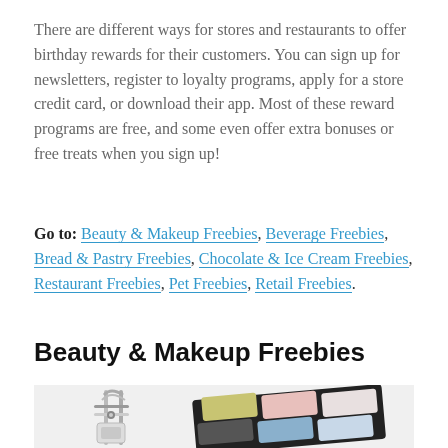There are different ways for stores and restaurants to offer birthday rewards for their customers. You can sign up for newsletters, register to loyalty programs, apply for a store credit card, or download their app. Most of these reward programs are free, and some even offer extra bonuses or free treats when you sign up!
Go to: Beauty & Makeup Freebies, Beverage Freebies, Bread & Pastry Freebies, Chocolate & Ice Cream Freebies, Restaurant Freebies, Pet Freebies, Retail Freebies.
Beauty & Makeup Freebies
[Figure (photo): Photo of beauty/makeup products: a curling tool/eyelash curler on the left and a multicolored eyeshadow palette on the right, on a white background.]